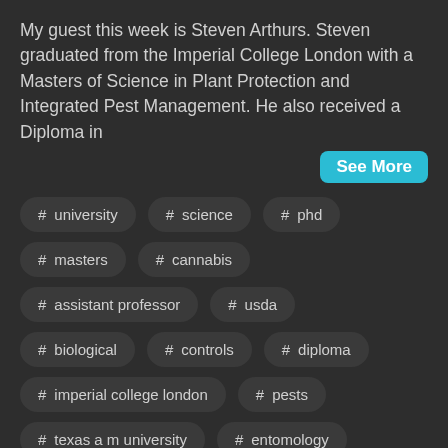My guest this week is Steven Arthurs. Steven graduated from the Imperial College London with a Masters of Science in Plant Protection and Integrated Pest Management. He also received a Diploma in
See More
# university
# science
# phd
# masters
# cannabis
# assistant professor
# usda
# biological
# controls
# diploma
# imperial college london
# pests
# texas a m university
# entomology